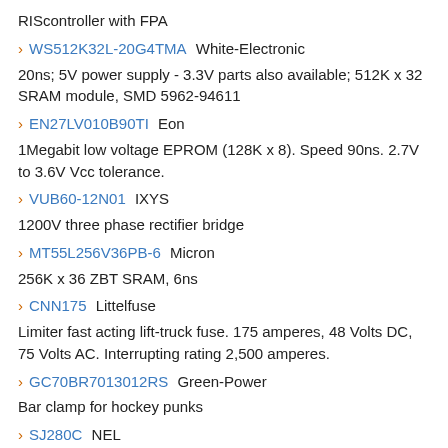RIScontroller with FPA
WS512K32L-20G4TMA White-Electronic
20ns; 5V power supply - 3.3V parts also available; 512K x 32 SRAM module, SMD 5962-94611
EN27LV010B90TI Eon
1Megabit low voltage EPROM (128K x 8). Speed 90ns. 2.7V to 3.6V Vcc tolerance.
VUB60-12N01 IXYS
1200V three phase rectifier bridge
MT55L256V36PB-6 Micron
256K x 36 ZBT SRAM, 6ns
CNN175 Littelfuse
Limiter fast acting lift-truck fuse. 175 amperes, 48 Volts DC, 75 Volts AC. Interrupting rating 2,500 amperes.
GC70BR7013012RS Green-Power
Bar clamp for hockey punks
SJ280C NEL
5 V,+/-100 ppm, ECL crystal clock oscillator